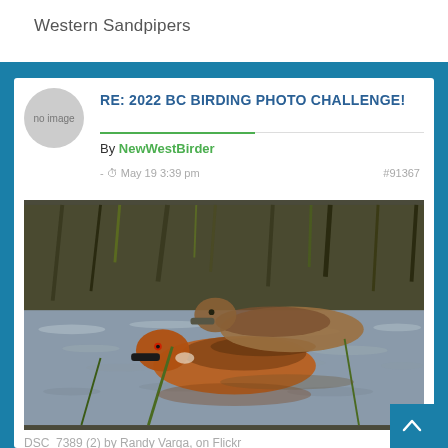Western Sandpipers
RE: 2022 BC BIRDING PHOTO CHALLENGE!
By NewWestBirder
- May 19 3:39 pm  #91367
[Figure (photo): Two ducks swimming in shallow water with reeds and grass in background. One duck has a rust/cinnamon colored head and the other is brown/speckled. Likely Cinnamon Teal ducks.]
DSC_7389 (2) by Randy Varga, on Flickr